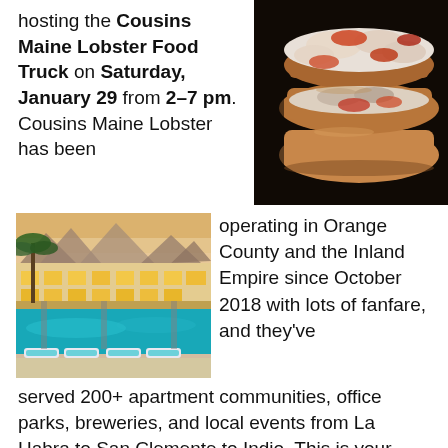hosting the Cousins Maine Lobster Food Truck on Saturday, January 29 from 2–7 pm. Cousins Maine Lobster has been
[Figure (photo): Close-up photo of lobster rolls with chunks of lobster meat piled high on toasted buns, against a dark background]
[Figure (photo): Photo of a hotel or motel pool area at dusk, with lounge chairs, bright turquoise water, palm trees, and lit building in background]
operating in Orange County and the Inland Empire since October 2018 with lots of fanfare, and they've served 200+ apartment communities, office parks, breweries, and local events from La Habra to San Clemente to Indio. This is your chance to partake in Maine Lobster here in Palm Springs. Get a pool pass and a day bed and make an afternoon of it.